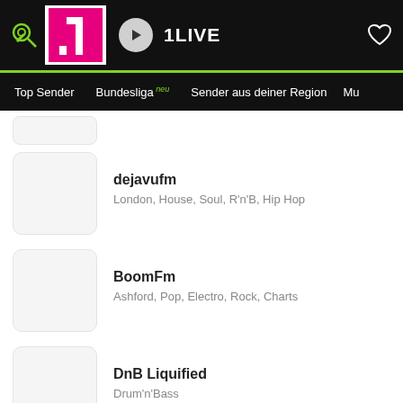1LIVE
Top Sender | Bundesliga neu | Sender aus deiner Region | Mu
dejavufm
London, House, Soul, R'n'B, Hip Hop
BoomFm
Ashford, Pop, Electro, Rock, Charts
DnB Liquified
Drum'n'Bass
NowHitsRadio